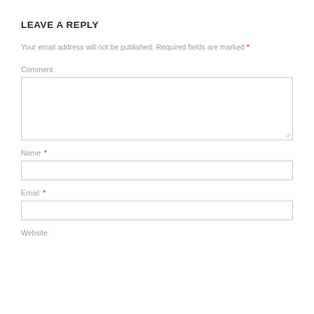LEAVE A REPLY
Your email address will not be published. Required fields are marked *
Comment
Name *
Email *
Website